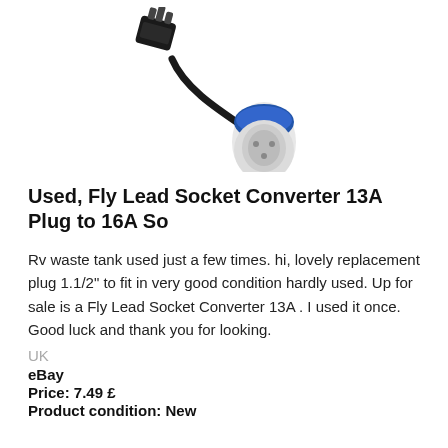[Figure (photo): Photo of a Fly Lead Socket Converter with a black cable connecting a 13A UK plug to a blue and white 16A socket]
Used, Fly Lead Socket Converter 13A Plug to 16A So
Rv waste tank used just a few times. hi, lovely replacement plug 1.1/2" to fit in very good condition hardly used. Up for sale is a Fly Lead Socket Converter 13A . I used it once. Good luck and thank you for looking.
UK
eBay
Price: 7.49 £
Product condition: New